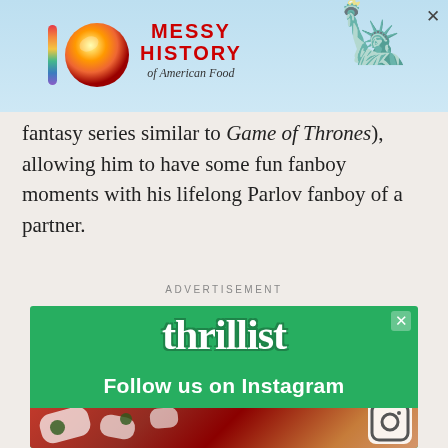[Figure (screenshot): Top advertisement banner for 'Messy History of American Food' with rainbow bar logo, colorful sphere logo, red bold title text, and Statue of Liberty silhouette on blue-tinted background with X close button]
fantasy series similar to Game of Thrones), allowing him to have some fun fanboy moments with his lifelong Parlov fanboy of a partner.
ADVERTISEMENT
[Figure (screenshot): Thrillist 'Follow us on Instagram' advertisement with green background, white bubbly thrillist logo text, bold white 'Follow us on Instagram' text, food photo showing pizza/flatbread with cheese and vegetables, and Instagram icon in bottom right corner with X close button]